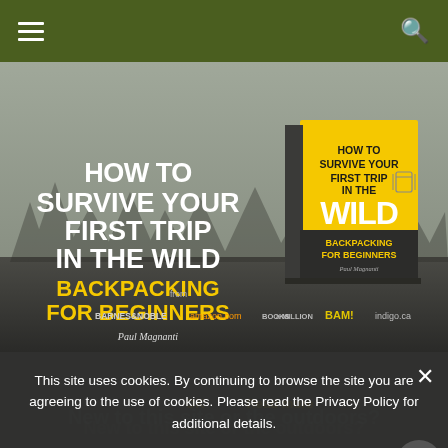Navigation bar with hamburger menu and search icon
[Figure (illustration): Book cover advertisement for 'How to Survive Your First Trip in the Wild: Backpacking for Beginners' by Paul Magnanti. Shows both a flat cover and a 3D book mockup. Available at Barnes & Noble, amazon.com, Books-A-Million, BAM!, and indigo.ca. Background is grey with forest silhouette.]
This site uses cookies. By continuing to browse the site you are agreeing to the use of cookies. Please read the Privacy Policy for additional details.
[Figure (photo): Partially visible image of outdoor/backpacking scene at the bottom of the page with overlaid text 'New to this site or the outdoors?' and links 'OK' and 'Read more']